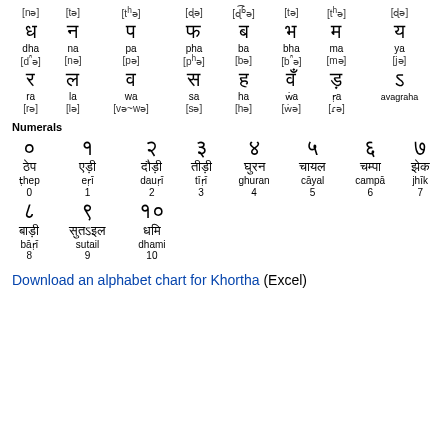| [nə] | [tə] | [tʰə] | [ɖə] | [ɖ͡ɓə] | [tə] | [tʰə] | [ɖə] |
| ध | न | प | फ | ब | भ | म | य |
| dha | na | pa | pha | ba | bha | ma | ya |
| [d͡ʰə] | [nə] | [pə] | [pʰə] | [bə] | [b͡ʰə] | [mə] | [jə] |
| र | ल | व | स | ह | वँ | ड़ | ऽ |
| ra | la | wa | sa | ha | ẇa | ṛa | avagraha |
| [rə] | [lə] | [və~wə] | [sə] | [hə] | [ẇə] | [ɾə] |  |
Numerals
| ० | १ | २ | ३ | ४ | ५ | ६ | ७ |
| ठेप | एड़ी | दौड़ी | तीड़ी | घुरन | चायल | चम्पा | झेक |
| ṭhep | eṛī | dauṛī | tīṛī | ghuran | cāyal | campā | jhīk |
| 0 | 1 | 2 | 3 | 4 | 5 | 6 | 7 |
| ८ | ९ | १० |  |  |  |  |  |
| बाड़ी | सुतऽइल | धमि |  |  |  |  |  |
| bāṛī | sutail | dhami |  |  |  |  |  |
| 8 | 9 | 10 |  |  |  |  |  |
Download an alphabet chart for Khortha (Excel)